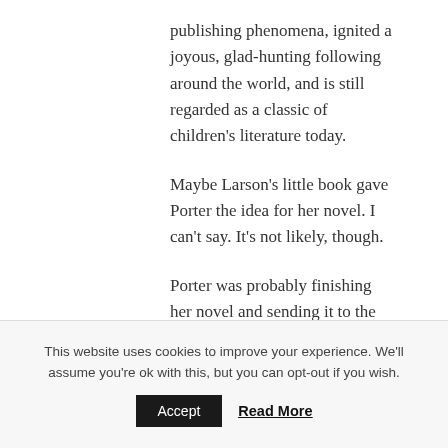publishing phenomena, ignited a joyous, glad-hunting following around the world, and is still regarded as a classic of children's literature today.
Maybe Larson's little book gave Porter the idea for her novel. I can't say. It's not likely, though.
Porter was probably finishing her novel and sending it to the publisher in 1912, when Larson's
This website uses cookies to improve your experience. We'll assume you're ok with this, but you can opt-out if you wish.
Accept
Read More